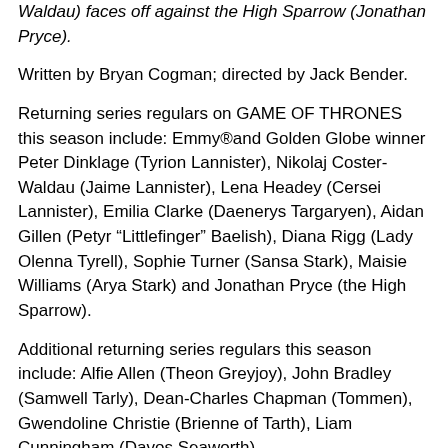Waldau) faces off against the High Sparrow (Jonathan Pryce).
Written by Bryan Cogman; directed by Jack Bender.
Returning series regulars on GAME OF THRONES this season include: Emmy®and Golden Globe winner Peter Dinklage (Tyrion Lannister), Nikolaj Coster-Waldau (Jaime Lannister), Lena Headey (Cersei Lannister), Emilia Clarke (Daenerys Targaryen), Aidan Gillen (Petyr “Littlefinger” Baelish), Diana Rigg (Lady Olenna Tyrell), Sophie Turner (Sansa Stark), Maisie Williams (Arya Stark) and Jonathan Pryce (the High Sparrow).
Additional returning series regulars this season include: Alfie Allen (Theon Greyjoy), John Bradley (Samwell Tarly), Dean-Charles Chapman (Tommen), Gwendoline Christie (Brienne of Tarth), Liam Cunningham (Davos Seaworth),